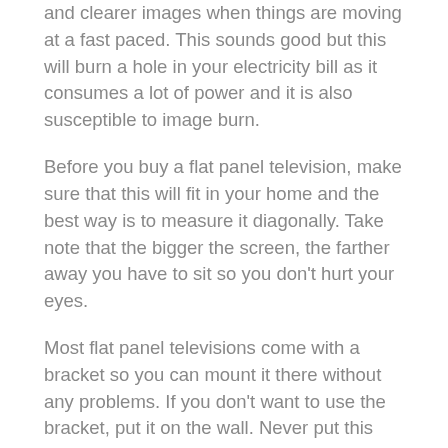and clearer images when things are moving at a fast paced. This sounds good but this will burn a hole in your electricity bill as it consumes a lot of power and it is also susceptible to image burn.
Before you buy a flat panel television, make sure that this will fit in your home and the best way is to measure it diagonally. Take note that the bigger the screen, the farther away you have to sit so you don't hurt your eyes.
Most flat panel televisions come with a bracket so you can mount it there without any problems. If you don't want to use the bracket, put it on the wall. Never put this directly over the fireplace because the heat could damage the unit.
To get the most of your flat panel television, make sure that it is already an HDTV. This will enable you to watch shows in this format especially when a lot of networks are using this to air their shows. For this to work, your